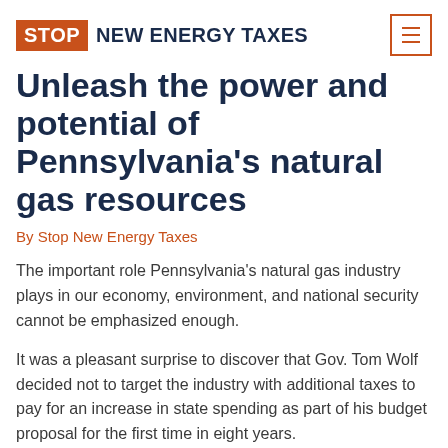STOP NEW ENERGY TAXES
Unleash the power and potential of Pennsylvania's natural gas resources
By Stop New Energy Taxes
The important role Pennsylvania's natural gas industry plays in our economy, environment, and national security cannot be emphasized enough.
It was a pleasant surprise to discover that Gov. Tom Wolf decided not to target the industry with additional taxes to pay for an increase in state spending as part of his budget proposal for the first time in eight years.